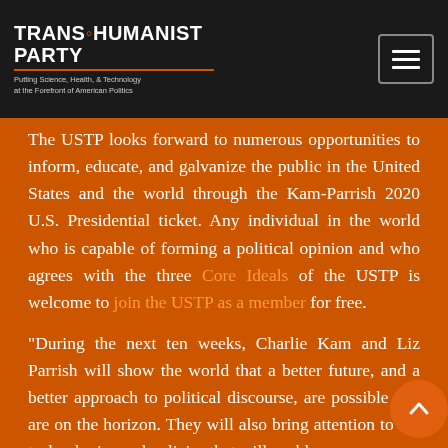TRANSHUMANIST PARTY — Putting Science, Health, & Technology at the Forefront of American Politics
The USTP looks forward to numerous opportunities to inform, educate, and galvanize the public in the United States and the world through the Kam-Parrish 2020 U.S. Presidential ticket. Any individual in the world who is capable of forming a political opinion and who agrees with the three Core Ideals of the USTP is welcome to join the USTP as a member for free.
“During the next ten weeks, Charlie Kam and Liz Parrish will show the world that a better future, and a better approach to political discourse, are possible and are on the horizon. They will also bring attention to the technologies and policies that will enable as